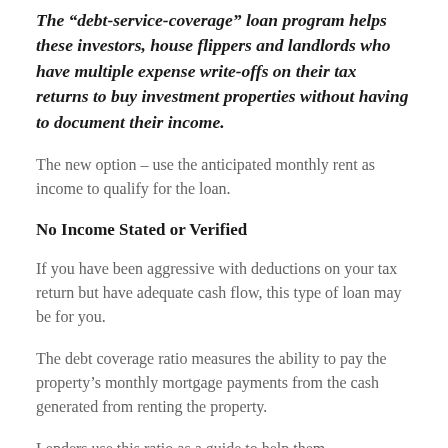The “debt-service-coverage” loan program helps these investors, house flippers and landlords who have multiple expense write-offs on their tax returns to buy investment properties without having to document their income.
The new option – use the anticipated monthly rent as income to qualify for the loan.
No Income Stated or Verified
If you have been aggressive with deductions on your tax return but have adequate cash flow, this type of loan may be for you.
The debt coverage ratio measures the ability to pay the property’s monthly mortgage payments from the cash generated from renting the property.
Lenders use this ratio as a guide to help them